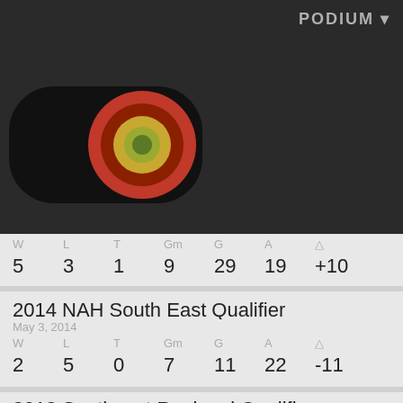PODIUM
[Figure (illustration): Black rounded rectangle with concentric circle target/bullseye logo in red, yellow, and green]
| W | L | T | Gm | G | A | △ |
| --- | --- | --- | --- | --- | --- | --- |
| 5 | 3 | 1 | 9 | 29 | 19 | +10 |
2014 NAH South East Qualifier
May 3, 2014
| W | L | T | Gm | G | A | △ |
| --- | --- | --- | --- | --- | --- | --- |
| 2 | 5 | 0 | 7 | 11 | 22 | -11 |
2013 Southeast Regional Qualifier
Jun 15, 2013
| W | L | T | Gm | G | A | △ |
| --- | --- | --- | --- | --- | --- | --- |
| 1 | 3 | 0 | 4 | 8 | 11 | -3 |